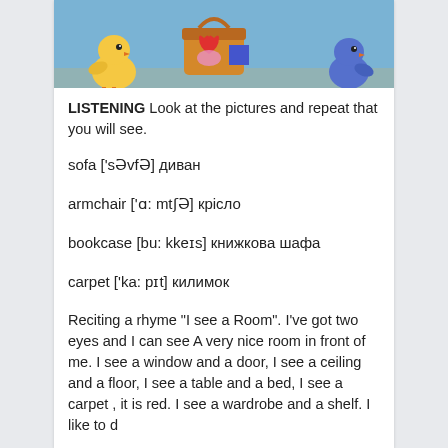[Figure (illustration): Cartoon illustration showing yellow chicks and colorful objects on a blue background, partially cropped at top of page]
LISTENING Look at the pictures and repeat that you will see.
sofa ['sƏvfƏ] диван
armchair ['ɑ: mtʃƏ] крісло
bookcase [bu: kkeɪs] книжкова шафа
carpet ['ka: pɪt] килимок
Reciting a rhyme "I see a Room". I've got two eyes and I can see A very nice room in front of me. I see a window and a door, I see a ceiling and a floor, I see a table and a bed, I see a carpet , it is red. I see a wardrobe and a shelf. I like to d